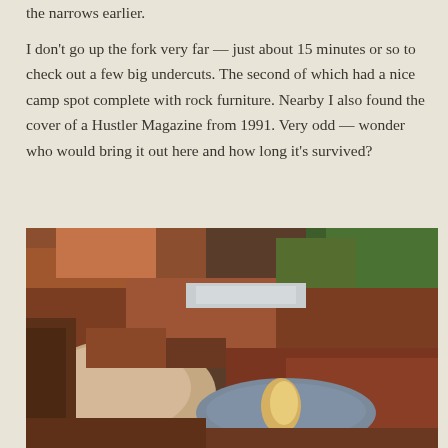the narrows earlier.
I don't go up the fork very far — just about 15 minutes or so to check out a few big undercuts. The second of which had a nice camp spot complete with rock furniture. Nearby I also found the cover of a Hustler Magazine from 1991. Very odd — wonder who would bring it out here and how long it's survived?
[Figure (photo): Landscape photograph of a red rock canyon with a shallow pool of water reflecting a tall rock formation or light. Reddish sandstone slabs and boulders in the foreground, green shrubs visible in the upper right background.]